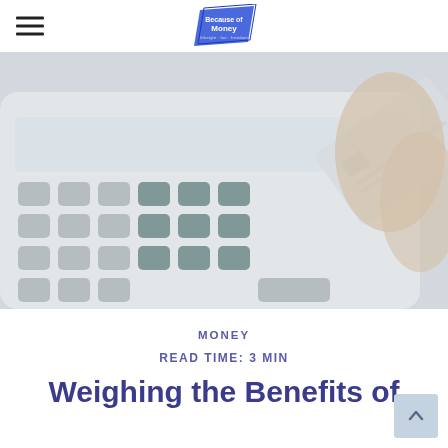Because of Money (logo)
[Figure (photo): Close-up photo of a person holding a credit card over a calculator/keyboard on a white desk]
MONEY
READ TIME: 3 MIN
Weighing the Benefits of